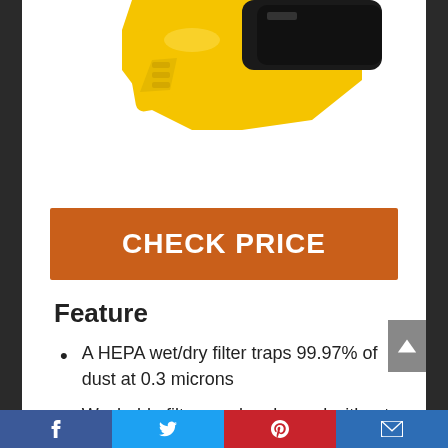[Figure (photo): Yellow and black power tool (handheld blower/vacuum) shown from the side, partially cropped at top]
CHECK PRICE
Feature
A HEPA wet/dry filter traps 99.97% of dust at 0.3 microns
Washable filter can be cleaned with a tap water rinse
Social share bar: Facebook, Twitter, Pinterest, Email